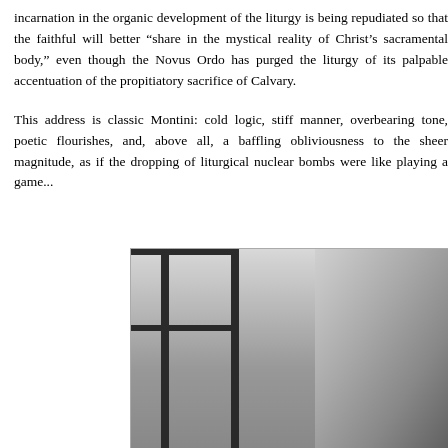incarnation in the organic development of the liturgy is being repudiated so that the faithful will better "share in the mystical reality of Christ's sacramental body," even though the Novus Ordo has purged the liturgy of its palpable accentuation of the propitiatory sacrifice of Calvary.
This address is classic Montini: cold logic, stiff manner, overbearing tone, poetic flourishes, and, above all, a baffling obliviousness to the sheer magnitude, as if the dropping of liturgical nuclear bombs were like playing a game...
[Figure (photo): Black and white photograph of a pope in white vestments standing near a large window, with a view of a plaza or square visible through the window behind him.]